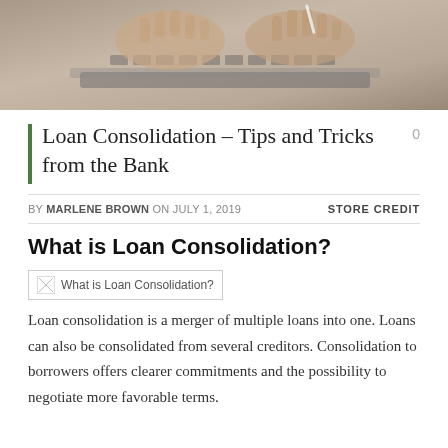[Figure (photo): Person's hands typing on a laptop keyboard, close-up shot]
Loan Consolidation – Tips and Tricks from the Bank
BY MARLENE BROWN ON JULY 1, 2019   STORE CREDIT
What is Loan Consolidation?
[Figure (illustration): Broken image placeholder labeled 'What is Loan Consolidation?']
Loan consolidation is a merger of multiple loans into one. Loans can also be consolidated from several creditors. Consolidation to borrowers offers clearer commitments and the possibility to negotiate more favorable terms.